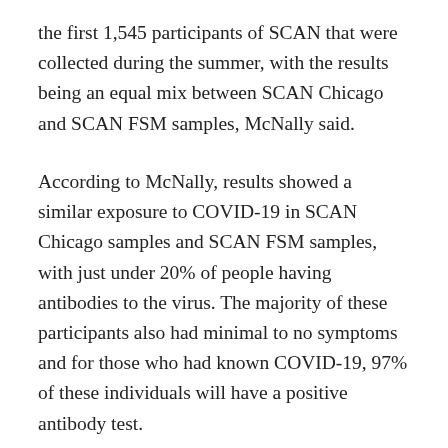the first 1,545 participants of SCAN that were collected during the summer, with the results being an equal mix between SCAN Chicago and SCAN FSM samples, McNally said.
According to McNally, results showed a similar exposure to COVID-19 in SCAN Chicago samples and SCAN FSM samples, with just under 20% of people having antibodies to the virus. The majority of these participants also had minimal to no symptoms and for those who had known COVID-19, 97% of these individuals will have a positive antibody test.
The team also had the opportunity to analyze samples from other data. A report finding that